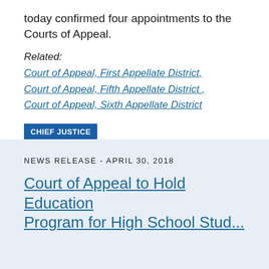today confirmed four appointments to the Courts of Appeal.
Related:
Court of Appeal, First Appellate District,
Court of Appeal, Fifth Appellate District ,
Court of Appeal, Sixth Appellate District
CHIEF JUSTICE   COMMISSION ON JUDICIAL APPOINTMENTS
NEWS RELEASE - APRIL 30, 2018
Court of Appeal to Hold Education Program for High School Students